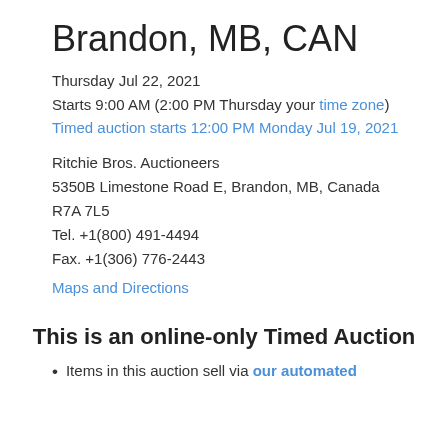Brandon, MB, CAN
Thursday Jul 22, 2021
Starts 9:00 AM (2:00 PM Thursday your time zone)
Timed auction starts 12:00 PM Monday Jul 19, 2021
Ritchie Bros. Auctioneers
5350B Limestone Road E, Brandon, MB, Canada
R7A 7L5
Tel. +1(800) 491-4494
Fax. +1(306) 776-2443
Maps and Directions
This is an online-only Timed Auction
Items in this auction sell via our automated